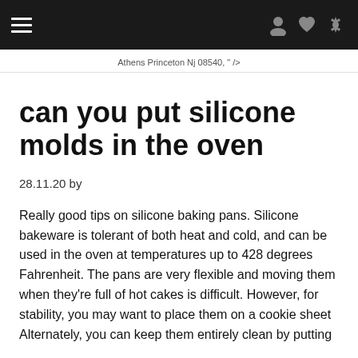Athens Princeton Nj 08540, " />
can you put silicone molds in the oven
28.11.20 by
Really good tips on silicone baking pans. Silicone bakeware is tolerant of both heat and cold, and can be used in the oven at temperatures up to 428 degrees Fahrenheit. The pans are very flexible and moving them when they're full of hot cakes is difficult. However, for stability, you may want to place them on a cookie sheet Alternately, you can keep them entirely clean by putting